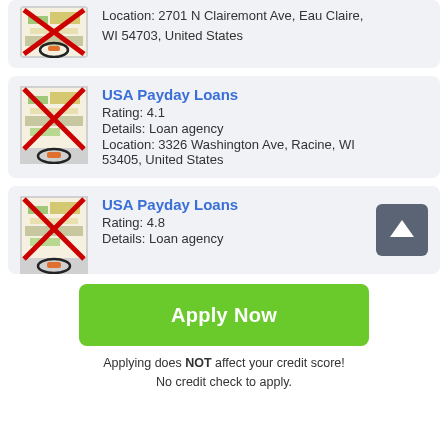Location: 2701 N Clairemont Ave, Eau Claire, WI 54703, United States
USA Payday Loans
Rating: 4.1
Details: Loan agency
Location: 3326 Washington Ave, Racine, WI 53405, United States
USA Payday Loans
Rating: 4.8
Details: Loan agency
Apply Now
Applying does NOT affect your credit score!
No credit check to apply.